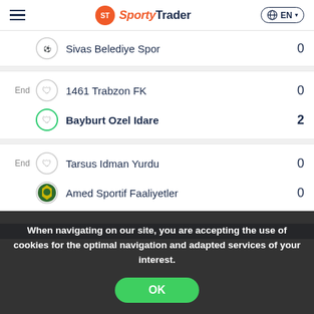SportyTrader - EN
Sivas Belediye Spor - 0
| Status | Team | Score |
| --- | --- | --- |
| End | 1461 Trabzon FK | 0 |
| End | Bayburt Ozel Idare | 2 |
| Status | Team | Score |
| --- | --- | --- |
| End | Tarsus Idman Yurdu | 0 |
| End | Amed Sportif Faaliyetler | 0 |
When navigating on our site, you are accepting the use of cookies for the optimal navigation and adapted services of your interest.